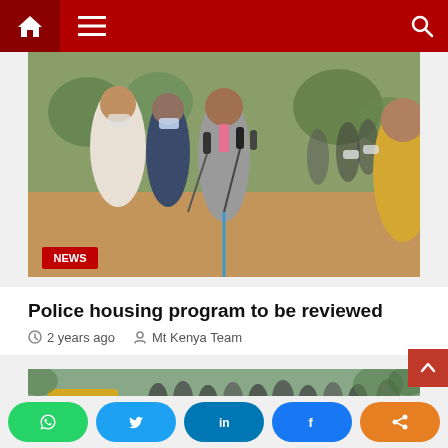Navigation bar with home, menu, and search icons
[Figure (photo): Group of people wearing face masks at an outdoor press conference. A man in a grey suit with a pink tie speaks into several microphones held by reporters. A 'NEWS' badge is in the lower left corner.]
Police housing program to be reviewed
2 years ago   Mt Kenya Team
[Figure (photo): Outdoor scene showing a crowd of people, some wearing face masks, gathered around a yellow vehicle.]
Social share buttons: WhatsApp, Twitter, LinkedIn, Facebook, Share